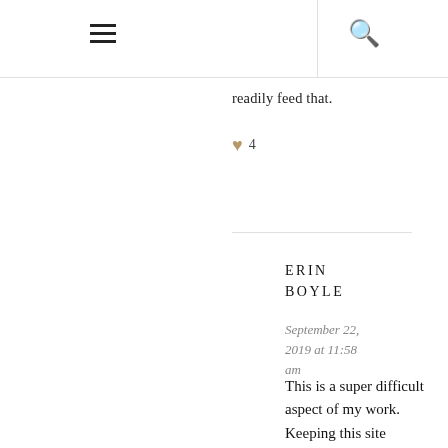≡  🔍
readily feed that.
♥ 4
ERIN BOYLE
September 22, 2019 at 11:58 am
This is a super difficult aspect of my work. Keeping this site